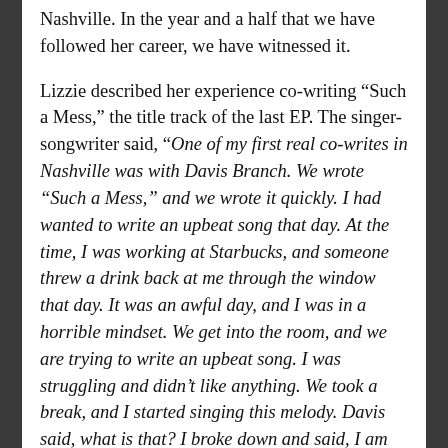Nashville. In the year and a half that we have followed her career, we have witnessed it.
Lizzie described her experience co-writing "Such a Mess," the title track of the last EP. The singer-songwriter said, "One of my first real co-writes in Nashville was with Davis Branch. We wrote "Such a Mess," and we wrote it quickly. I had wanted to write an upbeat song that day. At the time, I was working at Starbucks, and someone threw a drink back at me through the window that day. It was an awful day, and I was in a horrible mindset. We get into the room, and we are trying to write an upbeat song. I was struggling and didn't like anything. We took a break, and I started singing this melody. Davis said, what is that? I broke down and said, I am sorry. I am such a mess. He"